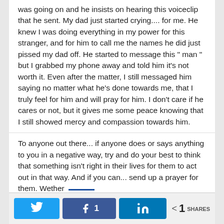was going on and he insists on hearing this voiceclip that he sent. My dad just started crying.... for me. He knew I was doing everything in my power for this stranger, and for him to call me the names he did just pissed my dad off. He started to message this " man " but I grabbed my phone away and told him it's not worth it. Even after the matter, I still messaged him saying no matter what he's done towards me, that I truly feel for him and will pray for him. I don't care if he cares or not, but it gives me some peace knowing that I still showed mercy and compassion towards him.
To anyone out there... if anyone does or says anything to you in a negative way, try and do your best to think that something isn't right in their lives for them to act out in that way. And if you can... send up a prayer for them. Wether
1 SHARES